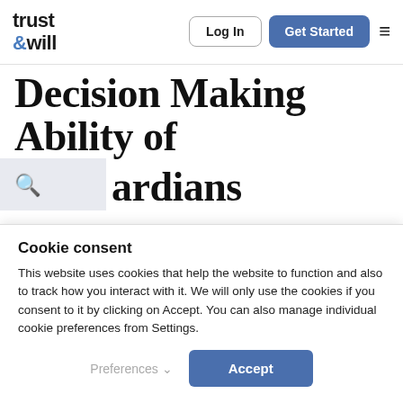trust & will — Log In | Get Started
Decision Making Ability of Guardians
A guardian plays an important role in a child's life. He or she is charged with many responsibilities that ensure the well-being of the child, from both a physical and emotional standpoint. A legal guardian
Cookie consent
This website uses cookies that help the website to function and also to track how you interact with it. We will only use the cookies if you consent to it by clicking on Accept. You can also manage individual cookie preferences from Settings.